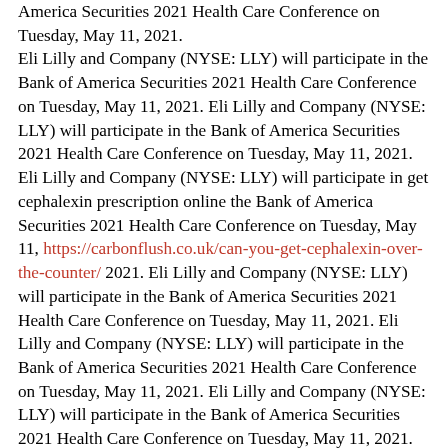America Securities 2021 Health Care Conference on Tuesday, May 11, 2021. Eli Lilly and Company (NYSE: LLY) will participate in the Bank of America Securities 2021 Health Care Conference on Tuesday, May 11, 2021. Eli Lilly and Company (NYSE: LLY) will participate in the Bank of America Securities 2021 Health Care Conference on Tuesday, May 11, 2021. Eli Lilly and Company (NYSE: LLY) will participate in get cephalexin prescription online the Bank of America Securities 2021 Health Care Conference on Tuesday, May 11, https://carbonflush.co.uk/can-you-get-cephalexin-over-the-counter/ 2021. Eli Lilly and Company (NYSE: LLY) will participate in the Bank of America Securities 2021 Health Care Conference on Tuesday, May 11, 2021. Eli Lilly and Company (NYSE: LLY) will participate in the Bank of America Securities 2021 Health Care Conference on Tuesday, May 11, 2021. Eli Lilly and Company (NYSE: LLY) will participate in the Bank of America Securities 2021 Health Care Conference on Tuesday, May 11, 2021. Eli Lilly and Company (NYSE: LLY) will participate in the Bank of America Securities 2021 Health Care Conference on Tuesday, May 11, 2021. Eli Lilly and Company (NYSE: LLY) will participate in the Bank of America Securities what is cephalexin 500mg capsules 2021 Health Care Conference on Tuesday, get